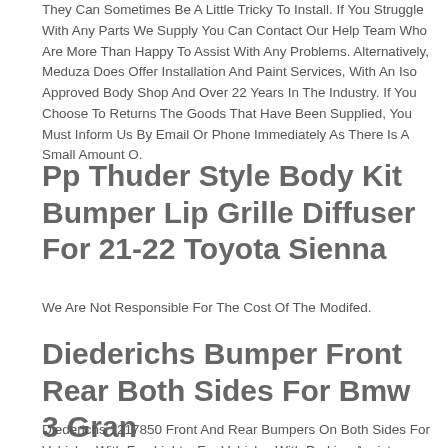They Can Sometimes Be A Little Tricky To Install. If You Struggle With Any Parts We Supply You Can Contact Our Help Team Who Are More Than Happy To Assist With Any Problems. Alternatively, Meduza Does Offer Installation And Paint Services, With An Iso Approved Body Shop And Over 22 Years In The Industry. If You Choose To Returns The Goods That Have Been Supplied, You Must Inform Us By Email Or Phone Immediately As There Is A Small Amount O.
Pp Thuder Style Body Kit Bumper Lip Grille Diffuser For 21-22 Toyota Sienna
We Are Not Responsible For The Cost Of The Modifed.
Diederichs Bumper Front Rear Both Sides For Bmw 3 Gran
Diederichs 1217850 Front And Rear Bumpers On Both Sides For Vehicles With Fog Lights, For Vehicles With Parking Assistance, For Vehicles With Headlight Cleaning Systems